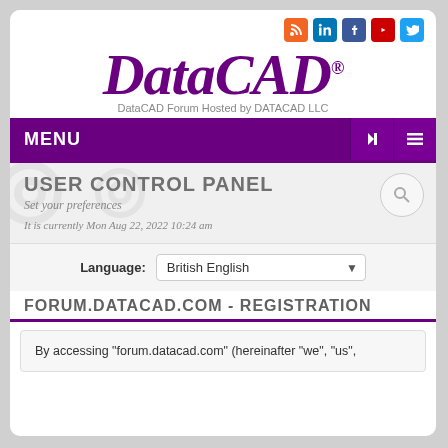[Figure (logo): DataCAD logo with social media icons (RSS, LinkedIn, Facebook, YouTube, Twitter) and subtitle 'DataCAD Forum Hosted by DATACAD LLC']
MENU
USER CONTROL PANEL
Set your preferences
It is currently Mon Aug 22, 2022 10:24 am
Language: British English
FORUM.DATACAD.COM - REGISTRATION
By accessing “forum.datacad.com” (hereinafter “we”, “us”,